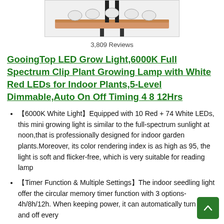[Figure (photo): Product photo of LED grow light lamp mounted on wooden stand, showing multiple LED bulbs, partially cropped at top]
3,809 Reviews
GooingTop LED Grow Light,6000K Full Spectrum Clip Plant Growing Lamp with White Red LEDs for Indoor Plants,5-Level Dimmable,Auto On Off Timing 4 8 12Hrs
【6000K White Light】Equipped with 10 Red + 74 White LEDs, this mini growing light is similar to the full-spectrum sunlight at noon,that is professionally designed for indoor garden plants.Moreover, its color rendering index is as high as 95, the light is soft and flicker-free, which is very suitable for reading lamp
【Timer Function & Multiple Settings】The indoor seedling light offer the circular memory timer function with 3 options-4h/8h/12h. When keeping power, it can automatically turn on and off every